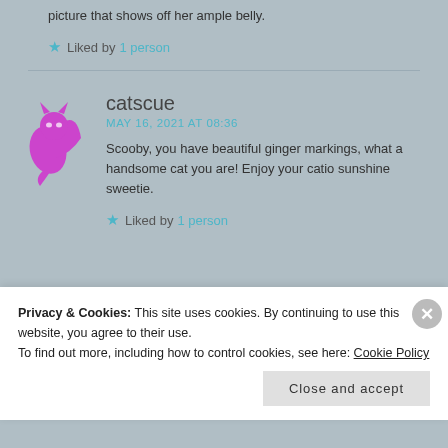picture that shows off her ample belly.
★ Liked by 1 person
catscue
MAY 16, 2021 AT 08:36
Scooby, you have beautiful ginger markings, what a handsome cat you are! Enjoy your catio sunshine sweetie.
★ Liked by 1 person
Privacy & Cookies: This site uses cookies. By continuing to use this website, you agree to their use.
To find out more, including how to control cookies, see here: Cookie Policy
Close and accept